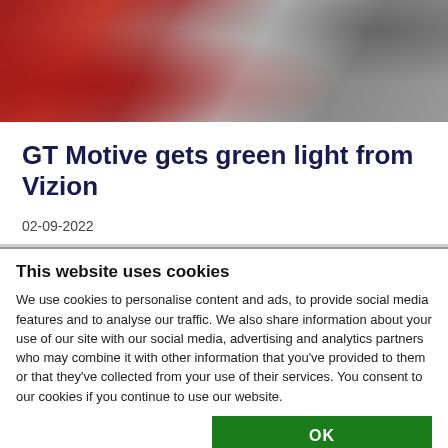[Figure (photo): A blurred/stylized photograph with red and grey tones, appearing to show a car and people in the background.]
GT Motive gets green light from Vizion
02-09-2022
This website uses cookies
We use cookies to personalise content and ads, to provide social media features and to analyse our traffic. We also share information about your use of our site with our social media, advertising and analytics partners who may combine it with other information that you've provided to them or that they've collected from your use of their services. You consent to our cookies if you continue to use our website.
OK
Necessary  Preferences  Statistics  Marketing  Show details